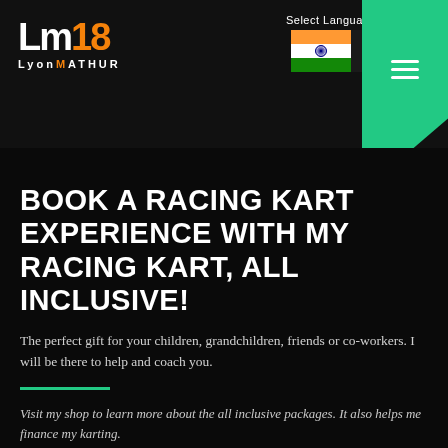[Figure (logo): LM18 LyonMathur logo — white and orange stylized letters on dark background]
[Figure (screenshot): Select Language dropdown showing Indian flag and ENGLISH text, with green navigation tab and hamburger menu icon]
BOOK A RACING KART EXPERIENCE WITH MY RACING KART, ALL INCLUSIVE!
The perfect gift for your children, grandchildren, friends or co-workers. I will be there to help and coach you.
Visit my shop to learn more about the all inclusive packages. It also helps me finance my karting.